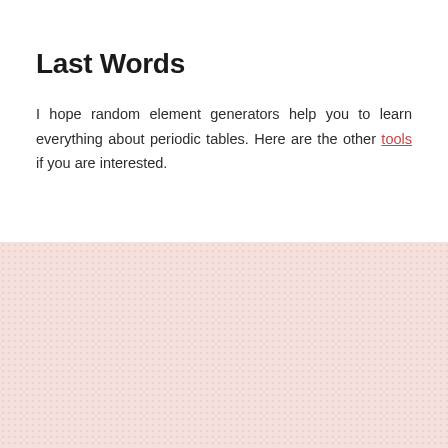Last Words
I hope random element generators help you to learn everything about periodic tables. Here are the other tools if you are interested.
[Figure (other): Light pink textured background section filling the bottom portion of the page]